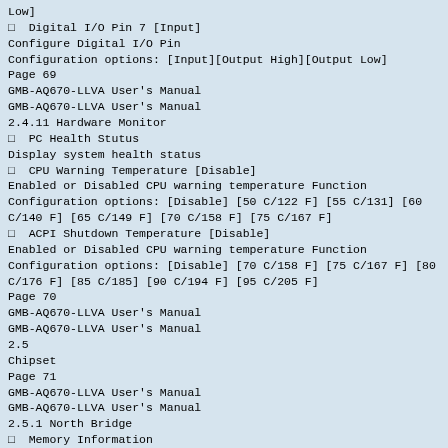Low]
□  Digital I/O Pin 7 [Input]
Configure Digital I/O Pin
Configuration options: [Input][Output High][Output Low]
Page 69
GMB-AQ670-LLVA User's Manual
GMB-AQ670-LLVA User's Manual
2.4.11 Hardware Monitor
□  PC Health Stutus
Display system health status
□  CPU Warning Temperature [Disable]
Enabled or Disabled CPU warning temperature Function
Configuration options: [Disable] [50 C/122 F] [55 C/131] [60 C/140 F] [65 C/149 F] [70 C/158 F] [75 C/167 F]
□  ACPI Shutdown Temperature [Disable]
Enabled or Disabled CPU warning temperature Function
Configuration options: [Disable] [70 C/158 F] [75 C/167 F] [80 C/176 F] [85 C/185] [90 C/194 F] [95 C/205 F]
Page 70
GMB-AQ670-LLVA User's Manual
GMB-AQ670-LLVA User's Manual
2.5
Chipset
Page 71
GMB-AQ670-LLVA User's Manual
GMB-AQ670-LLVA User's Manual
2.5.1 North Bridge
□  Memory Information
Display Memory Information